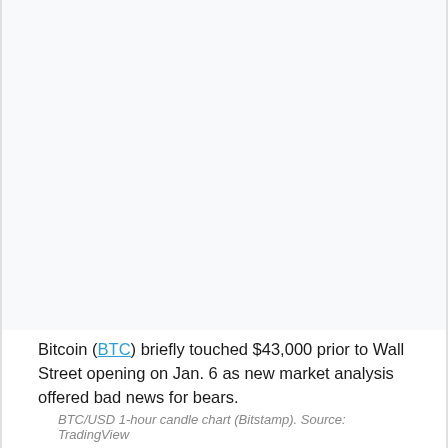[Figure (other): BTC/USD 1-hour candle chart from Bitstamp displayed via TradingView — chart image area (blank/white in this crop)]
Bitcoin (BTC) briefly touched $43,000 prior to Wall Street opening on Jan. 6 as new market analysis offered bad news for bears.
BTC/USD 1-hour candle chart (Bitstamp). Source: TradingView